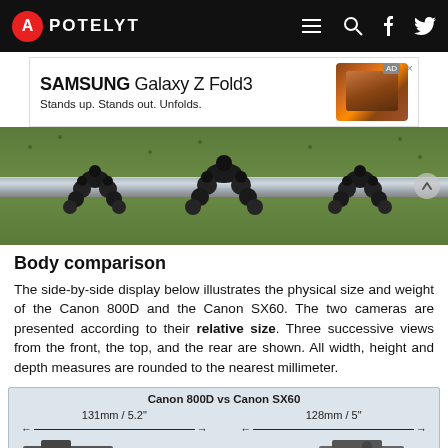APOTELYT
[Figure (photo): A flexible tripod (Joby GorillaPod style) gripping a horizontal metal bar, photographed against a green grass background.]
Body comparison
The side-by-side display below illustrates the physical size and weight of the Canon 800D and the Canon SX60. The two cameras are presented according to their relative size. Three successive views from the front, the top, and the rear are shown. All width, height and depth measures are rounded to the nearest millimeter.
[Figure (infographic): Canon 800D vs Canon SX60 body size comparison diagram showing measurements: 131mm / 5.2" width for Canon 800D and 128mm / 5" width for Canon SX60, with silhouettes of both cameras.]